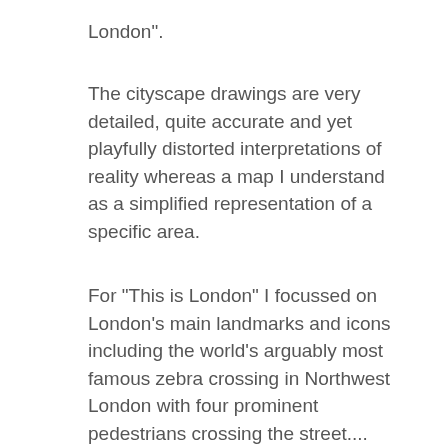London".
The cityscape drawings are very detailed, quite accurate and yet playfully distorted interpretations of reality whereas a map I understand as a simplified representation of a specific area.
For "This is London" I focussed on London's main landmarks and icons including the world's arguably most famous zebra crossing in Northwest London with four prominent pedestrians crossing the street....